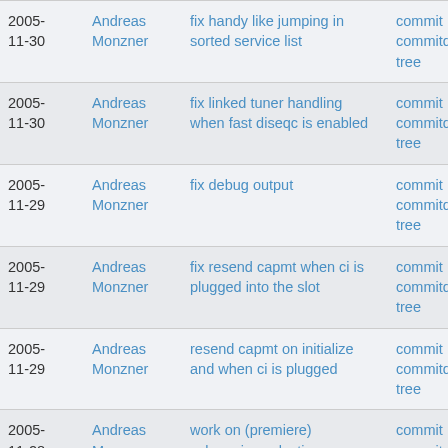| Date | Author | Message | Links |
| --- | --- | --- | --- |
| 2005-11-30 | Andreas Monzner | fix handy like jumping in sorted service list | commit | commitdiff | tree |
| 2005-11-30 | Andreas Monzner | fix linked tuner handling when fast diseqc is enabled | commit | commitdiff | tree |
| 2005-11-29 | Andreas Monzner | fix debug output | commit | commitdiff | tree |
| 2005-11-29 | Andreas Monzner | fix resend capmt when ci is plugged into the slot | commit | commitdiff | tree |
| 2005-11-29 | Andreas Monzner | resend capmt on initialize and when ci is plugged | commit | commitdiff | tree |
| 2005-11-28 | Andreas Monzner | work on (premiere) subservice selection | commit | commitdiff | |